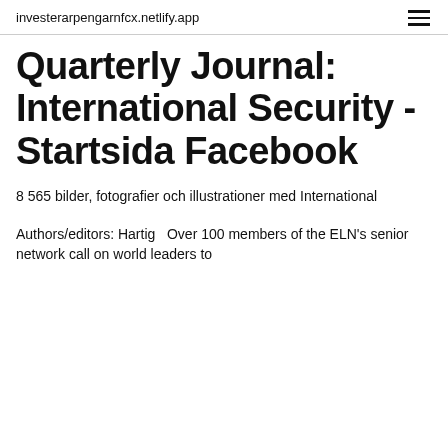investerarpengarnfcx.netlify.app
Quarterly Journal: International Security - Startsida Facebook
8 565 bilder, fotografier och illustrationer med International
Authors/editors: Hartig  Over 100 members of the ELN's senior network call on world leaders to